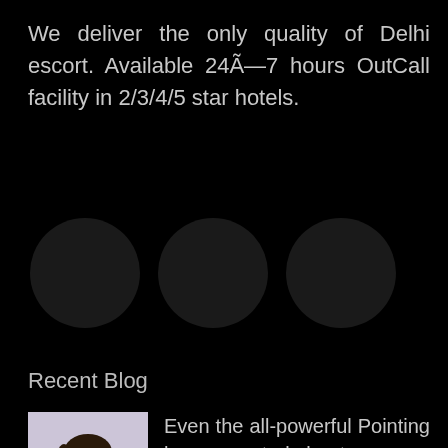We deliver the only quality of Delhi escort. Available 24Ã—7 hours OutCall facility in 2/3/4/5 star hotels.
[Figure (other): Three dark circles in a row on black background]
Recent Blog
[Figure (photo): Thumbnail photo of a woman with dark hair wearing a dark top]
Even the all-powerful Pointing has no control about
Ju WhatsApp n Call Us